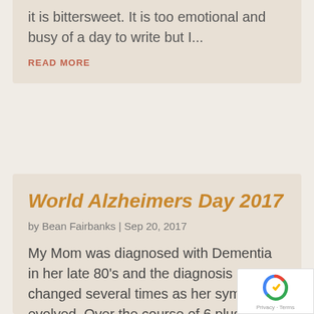it is bittersweet. It is too emotional and busy of a day to write but I...
READ MORE
World Alzheimers Day 2017
by Bean Fairbanks | Sep 20, 2017
My Mom was diagnosed with Dementia in her late 80's and the diagnosis changed several times as her symptoms evolved. Over the course of 6 plus years, I journaled for my own sanity. Friends encouraged me to turn those stories into a book. I am in the final stretch, but...